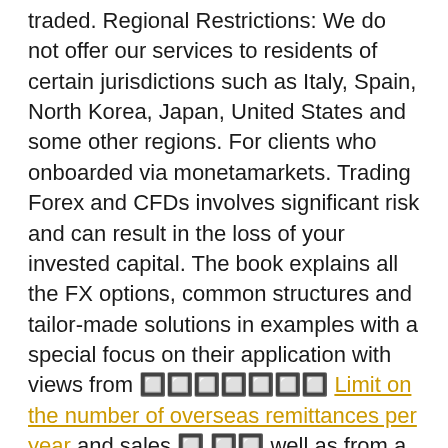traded. Regional Restrictions: We do not offer our services to residents of certain jurisdictions such as Italy, Spain, North Korea, Japan, United States and some other regions. For clients who onboarded via monetamarkets. Trading Forex and CFDs involves significant risk and can result in the loss of your invested capital. The book explains all the FX options, common structures and tailor-made solutions in examples with a special focus on their application with views from 한도제한금액연간 Limit on the number of overseas remittances per year and sales 및 또한 well as from a corporate client perspective. General Advice Warning The information in this website is of a general nature only and the advice has been prepared without taking account of your objectives, financial situation or needs. One entire chapter is devoted to hedge accounting, after which the foundations of a typical structured FX forward are examined in a case study